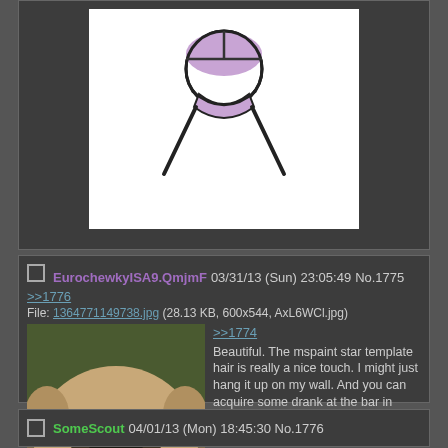[Figure (illustration): MS Paint style stick figure with lavender/purple top of head and body area, black lines for shoulders and hair dividers]
EurochewkyISA9.QmjmF 03/31/13 (Sun) 23:05:49 No.1775 >>1776
File: 1364771149738.jpg (28.13 KB, 600x544, AxL6WCl.jpg)
[Figure (photo): Close-up photo of a pug dog face looking upward with tongue out, greenery in background]
>>1774
Beautiful. The mspaint star template hair is really a nice touch. I might just hang it up on my wall. And you can acquire some drank at the bar in Japan Town, I believe.
SomeScout 04/01/13 (Mon) 18:45:30 No.1776